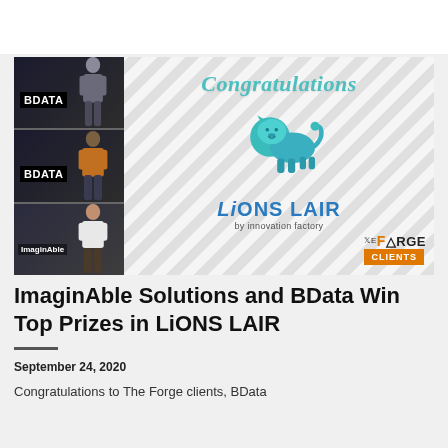[Figure (photo): Composite image: left strip shows three photos of presenters in front of BDATA and ImaginAble banners; right side shows a 'Congratulations' graphic with a teal lion logo and 'LiONS LAIR by innovation factory' text and 'The Forge CLIENTS' badge on a diagonal-stripe background.]
ImaginAble Solutions and BData Win Top Prizes in LiONS LAIR
September 24, 2020
Congratulations to The Forge clients, BData